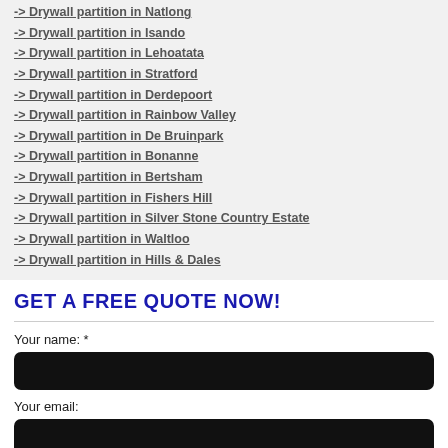-> Drywall partition in Natlong
-> Drywall partition in Isando
-> Drywall partition in Lehoatata
-> Drywall partition in Stratford
-> Drywall partition in Derdepoort
-> Drywall partition in Rainbow Valley
-> Drywall partition in De Bruinpark
-> Drywall partition in Bonanne
-> Drywall partition in Bertsham
-> Drywall partition in Fishers Hill
-> Drywall partition in Silver Stone Country Estate
-> Drywall partition in Waltloo
-> Drywall partition in Hills & Dales
GET A FREE QUOTE NOW!
Your name: *
Your email: